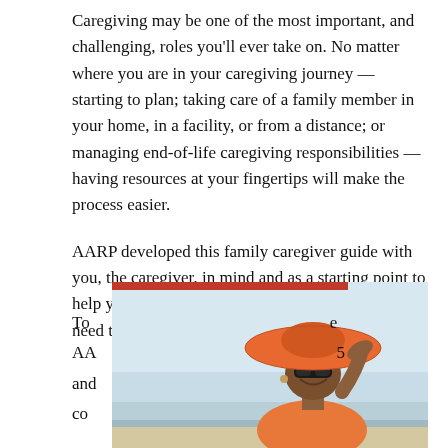Caregiving may be one of the most important, and challenging, roles you'll ever take on. No matter where you are in your caregiving journey — starting to plan; taking care of a family member in your home, in a facility, or from a distance; or managing end-of-life caregiving responsibilities — having resources at your fingertips will make the process easier.
AARP developed this family caregiver guide with you, the caregiver, in mind and as a starting point to help you find the services and support you might need throughout your journey.
To ... see AARP ... 5 and ... co...
[Figure (photo): A smiling woman wearing a large orange sun hat, sunglasses, and an orange outfit, photographed at a beach. The top of the image has a red horizontal bar.]